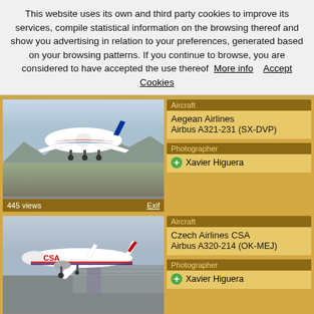This website uses its own and third party cookies to improve its services, compile statistical information on the browsing thereof and show you advertising in relation to your preferences, generated based on your browsing patterns. If you continue to browse, you are considered to have accepted the use thereof  More info     Accept Cookies
[Figure (photo): Aegean Airlines Airbus A321-231 (SX-DVP) airplane landing/approaching, front view on runway with mountains in background]
445 views
Exif
Aircraft
Aegean Airlines
Airbus A321-231 (SX-DVP)
Photographer
Xavier Higuera
[Figure (photo): Czech Airlines CSA Airbus A320-214 (OK-MEJ) airplane on approach, side view with airport buildings in background]
471 views
Exif
Aircraft
Czech Airlines CSA
Airbus A320-214 (OK-MEJ)
Photographer
Xavier Higuera